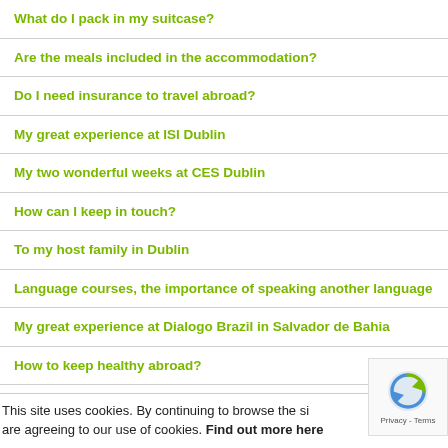What do I pack in my suitcase?
Are the meals included in the accommodation?
Do I need insurance to travel abroad?
My great experience at ISI Dublin
My two wonderful weeks at CES Dublin
How can I keep in touch?
To my host family in Dublin
Language courses, the importance of speaking another language
My great experience at Dialogo Brazil in Salvador de Bahia
How to keep healthy abroad?
Study and Work in Australia
This site uses cookies. By continuing to browse the site you are agreeing to our use of cookies. Find out more here